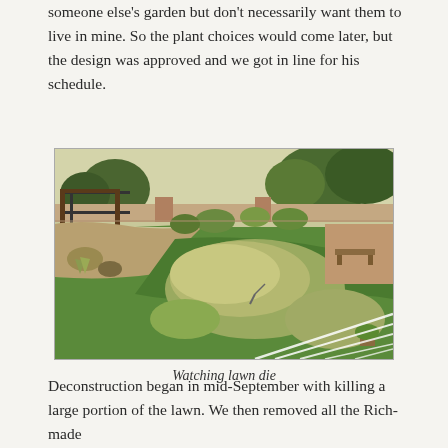someone else's garden but don't necessarily want them to live in mine.  So the plant choices would come later, but the design was approved and we got in line for his schedule.
[Figure (photo): Aerial view of a backyard lawn with patches of dead/dying grass and green areas, surrounded by desert landscaping, trees, and a fence. White lines visible in lower right corner.]
Watching lawn die
Deconstruction began in mid-September with killing a large portion of the lawn.  We then removed all the Rich-made